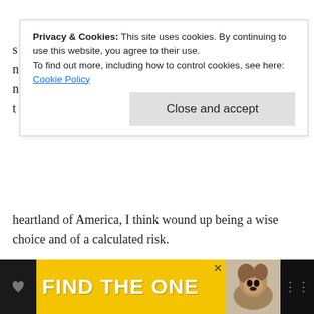[Figure (screenshot): Cookie consent banner overlay on a webpage. Banner reads: 'Privacy & Cookies: This site uses cookies. By continuing to use this website, you agree to their use. To find out more, including how to control cookies, see here: Cookie Policy' with a 'Close and accept' button.]
heartland of America, I think wound up being a wise choice and of a calculated risk.
I just like the idea of this kid kind of getting under my skin, and I like the idea of kids bringing their parents to the verge of an anxiety attack. And kind of going like, “Oh, what's wrong with you?” Once they push you there. And I thought that was a nice way to refer to [The Avengers]. We needed reasons, and sometimes you look at the bigger picture of this now kind of like continuance of stories, you know.
[Figure (screenshot): Floating action buttons: a blue rounded square with an edit/save icon showing a heart, and below it a white circular share button.]
[Figure (screenshot): Advertisement banner at bottom with yellow background reading 'FIND THE ONE' with a dog image and 'x' close button.]